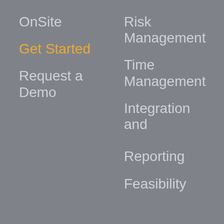OnSite
Risk Management
Get Started
Time Management
Request a Demo
Integration and Reporting
Feasibility